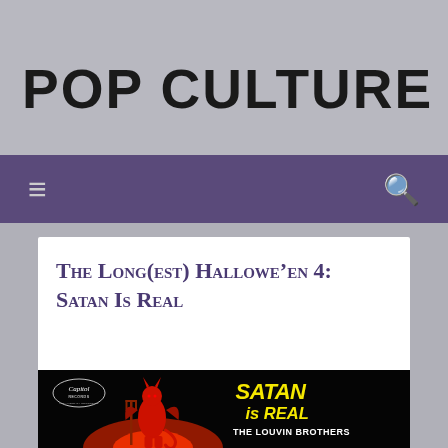Pop Culture Death Drive
[Figure (screenshot): Navigation bar with hamburger menu icon on left and search icon on right, purple background]
The Long(est) Hallowe'en 4: Satan Is Real
[Figure (photo): Album cover for 'Satan Is Real' by The Louvin Brothers on Capitol Records. Black background with red devil figure on left holding a pitchfork, and yellow stylized text reading 'Satan Is Real' on the right with 'The Louvin Brothers' in white text below.]